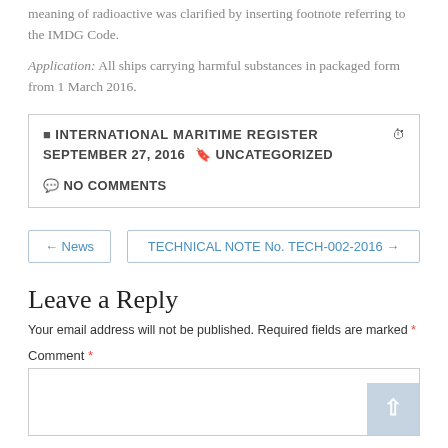meaning of radioactive was clarified by inserting footnote referring to the IMDG Code.
Application: All ships carrying harmful substances in packaged form from 1 March 2016.
INTERNATIONAL MARITIME REGISTER  SEPTEMBER 27, 2016  UNCATEGORIZED  NO COMMENTS
← News    TECHNICAL NOTE No. TECH-002-2016 →
Leave a Reply
Your email address will not be published. Required fields are marked *
Comment *